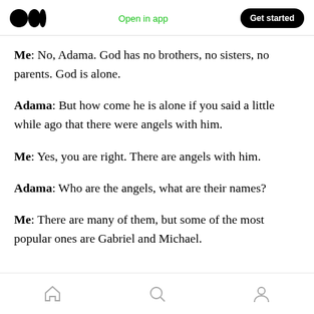Medium logo | Open in app | Get started
Me: No, Adama. God has no brothers, no sisters, no parents. God is alone.
Adama: But how come he is alone if you said a little while ago that there were angels with him.
Me: Yes, you are right. There are angels with him.
Adama: Who are the angels, what are their names?
Me: There are many of them, but some of the most popular ones are Gabriel and Michael.
Home | Search | Profile